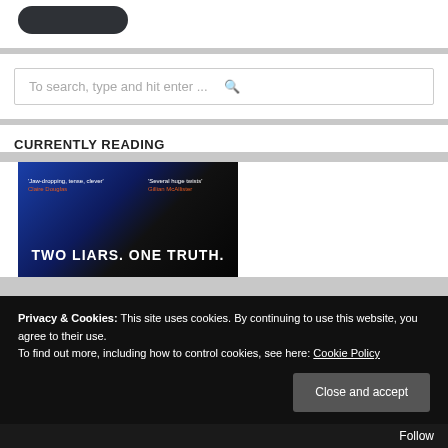[Figure (other): Dark pill/rounded rectangle shape, dark charcoal color, partial view at top]
To search, type and hit enter ...
CURRENTLY READING
[Figure (photo): Book cover with blue and black background. Blurbs: 'Jaw-dropping, tense, clever' Claire Douglas and 'Several huge twists' Gillian McAllister. Title: TWO LIARS. ONE TRUTH.]
Privacy & Cookies: This site uses cookies. By continuing to use this website, you agree to their use.
To find out more, including how to control cookies, see here: Cookie Policy
Close and accept
Follow